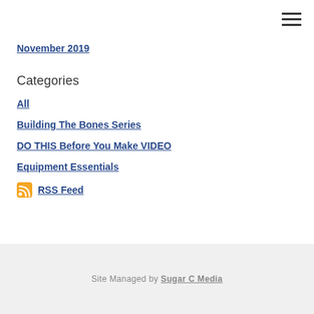≡ (hamburger menu icon)
November 2019
Categories
All
Building The Bones Series
DO THIS Before You Make VIDEO
Equipment Essentials
RSS Feed
Site Managed by Sugar C Media